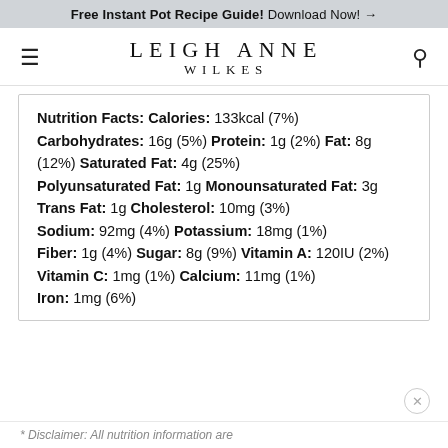Free Instant Pot Recipe Guide! Download Now! →
LEIGH ANNE WILKES
Nutrition Facts: Calories: 133kcal (7%) Carbohydrates: 16g (5%) Protein: 1g (2%) Fat: 8g (12%) Saturated Fat: 4g (25%) Polyunsaturated Fat: 1g Monounsaturated Fat: 3g Trans Fat: 1g Cholesterol: 10mg (3%) Sodium: 92mg (4%) Potassium: 18mg (1%) Fiber: 1g (4%) Sugar: 8g (9%) Vitamin A: 120IU (2%) Vitamin C: 1mg (1%) Calcium: 11mg (1%) Iron: 1mg (6%)
* Disclaimer: All nutrition information are